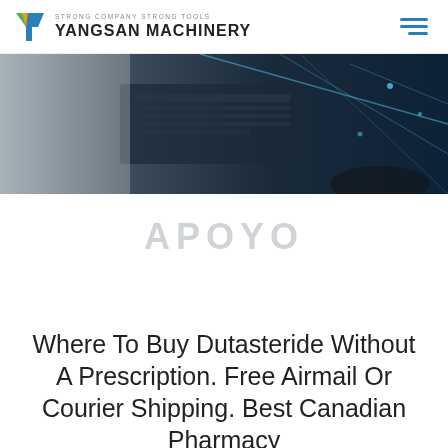STRONG COMPANY STRONG TOOLS | YANGSAN MACHINERY
[Figure (photo): Dark tech/server room background image with blue geometric light overlays]
APOYO
Where To Buy Dutasteride Without A Prescription. Free Airmail Or Courier Shipping. Best Canadian Pharmacy